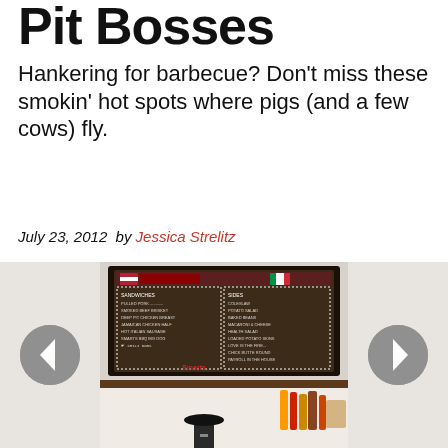Pit Bosses
Hankering for barbecue? Don't miss these smokin' hot spots where pigs (and a few cows) fly.
July 23, 2012  by Jessica Strelitz
[Figure (photo): Photo of a chalkboard menu on a wall above a counter with condiment bottles and a stool visible below. The chalkboard has two columns listing sandwiches and sides with prices.]